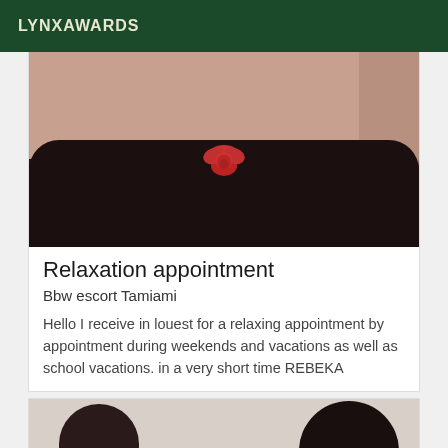LYNXAWARDS
[Figure (photo): Close-up photo of a person wearing a dark floral bustier/corset with a large red flower/bow decoration in the center]
Relaxation appointment
Bbw escort Tamiami
Hello I receive in louest for a relaxing appointment by appointment during weekends and vacations as well as school vacations. in a very short time REBEKA
[Figure (photo): Photo showing two people with dark hair, partial view from below]